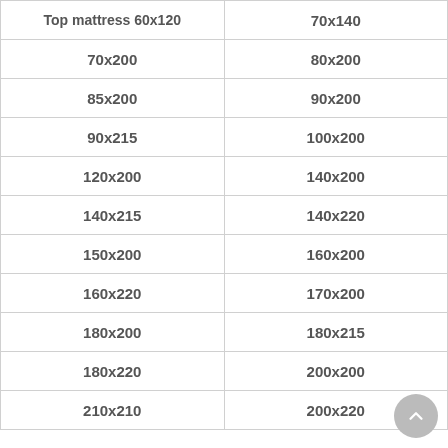| Top mattress 60x120 | 70x140 |
| 70x200 | 80x200 |
| 85x200 | 90x200 |
| 90x215 | 100x200 |
| 120x200 | 140x200 |
| 140x215 | 140x220 |
| 150x200 | 160x200 |
| 160x220 | 170x200 |
| 180x200 | 180x215 |
| 180x220 | 200x200 |
| 210x210 | 200x220 |